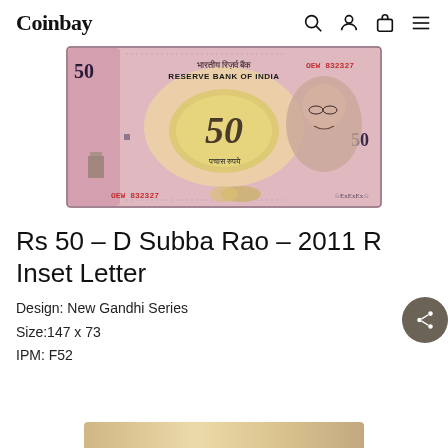Coinbay
[Figure (photo): Indian Rs 50 banknote front face, serial number OEW 832327, Reserve Bank of India, featuring Gandhi portrait, pink/purple color scheme]
Rs 50 – D Subba Rao – 2011 R Inset Letter
Design: New Gandhi Series
Size:147 x 73
IPM: F52